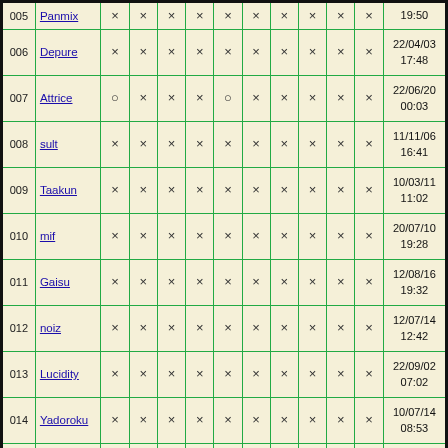| # | Name | C1 | C2 | C3 | C4 | C5 | C6 | C7 | C8 | C9 | C10 | Date/Time |
| --- | --- | --- | --- | --- | --- | --- | --- | --- | --- | --- | --- | --- |
| 005 | Panmix | × | × | × | × | × | × | × | × | × | × | 19:50 |
| 006 | Depure | × | × | × | × | × | × | × | × | × | × | 22/04/03 17:48 |
| 007 | Attrice | ○ | × | × | × | ○ | × | × | × | × | × | 22/06/20 00:03 |
| 008 | sult | × | × | × | × | × | × | × | × | × | × | 11/11/06 16:41 |
| 009 | Taakun | × | × | × | × | × | × | × | × | × | × | 10/03/11 11:02 |
| 010 | mif | × | × | × | × | × | × | × | × | × | × | 20/07/10 19:28 |
| 011 | Gaisu | × | × | × | × | × | × | × | × | × | × | 12/08/16 19:32 |
| 012 | noiz | × | × | × | × | × | × | × | × | × | × | 12/07/14 12:42 |
| 013 | Lucidity | × | × | × | × | × | × | × | × | × | × | 22/09/02 07:02 |
| 014 | Yadoroku | × | × | × | × | × | × | × | × | × | × | 10/07/14 08:53 |
| 015 | Mococo | × | × | × | × | × | × | × | × | × | × | 08/08/28 22:59 |
| 016 | Rinare | × | × | × | × | × | × | × | × | × | × | 22/09/02 04:59 |
| 017 | Burbu | × | × | × | × | × | × | × | × | × | × | 10/10/01 16:23 |
| 018 | piimocho | × | × | × | × | × | × | × | × | × | × | 19/08/16 |